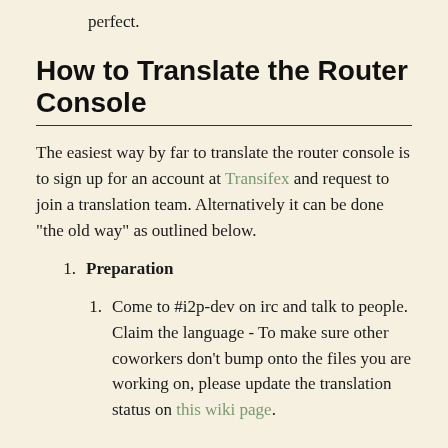Repeat. Check in often. Don't wait until it's perfect.
How to Translate the Router Console
The easiest way by far to translate the router console is to sign up for an account at Transifex and request to join a translation team. Alternatively it can be done "the old way" as outlined below.
Preparation
Come to #i2p-dev on irc and talk to people. Claim the language - To make sure other coworkers don't bump onto the files you are working on, please update the translation status on this wiki page.